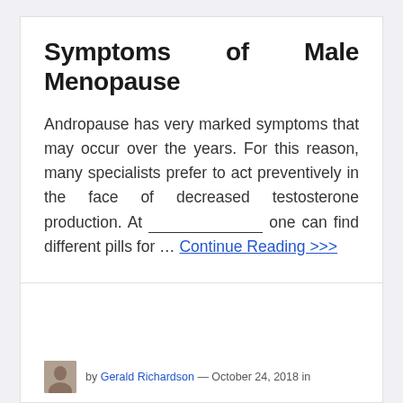Symptoms of Male Menopause
Andropause has very marked symptoms that may occur over the years. For this reason, many specialists prefer to act preventively in the face of decreased testosterone production. At _______________ one can find different pills for … Continue Reading >>>
by Gerald Richardson — October 24, 2018 in